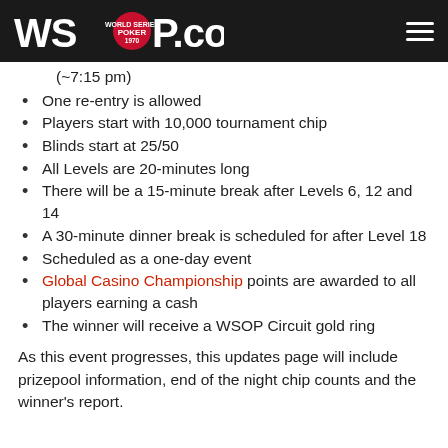WSOP.COM
(~7:15 pm)
One re-entry is allowed
Players start with 10,000 tournament chip
Blinds start at 25/50
All Levels are 20-minutes long
There will be a 15-minute break after Levels 6, 12 and 14
A 30-minute dinner break is scheduled for after Level 18
Scheduled as a one-day event
Global Casino Championship points are awarded to all players earning a cash
The winner will receive a WSOP Circuit gold ring
As this event progresses, this updates page will include prizepool information, end of the night chip counts and the winner's report.